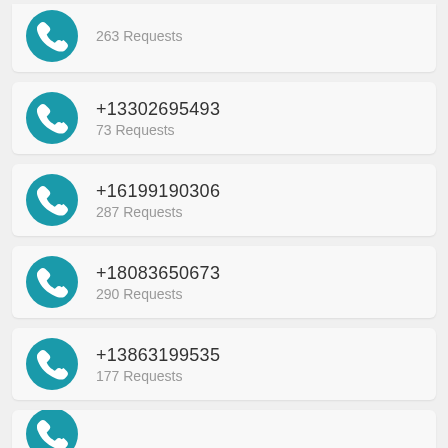263 Requests (partial top card)
+13302695493, 73 Requests
+16199190306, 287 Requests
+18083650673, 290 Requests
+13863199535, 177 Requests
(partial bottom card)